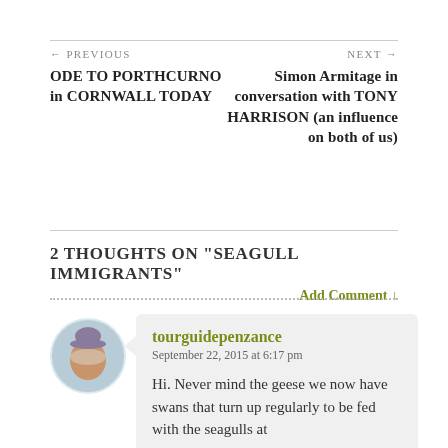← PREVIOUS ODE TO PORTHCURNO in CORNWALL TODAY
NEXT → Simon Armitage in conversation with TONY HARRISON (an influence on both of us)
2 THOUGHTS ON "SEAGULL IMMIGRANTS"
Add Comment ↓
tourguidepenzance
September 22, 2015 at 6:17 pm
Hi. Never mind the geese we now have swans that turn up regularly to be fed with the seagulls at